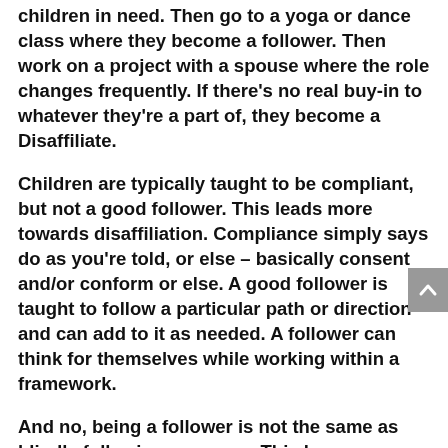children in need. Then go to a yoga or dance class where they become a follower. Then work on a project with a spouse where the role changes frequently. If there's no real buy-in to whatever they're a part of, they become a Disaffiliate.
Children are typically taught to be compliant, but not a good follower. This leads more towards disaffiliation. Compliance simply says do as you're told, or else – basically consent and/or conform or else. A good follower is taught to follow a particular path or direction and can add to it as needed. A follower can think for themselves while working within a framework.
And no, being a follower is not the same as blindly following someone. This happens when a person follows a narrow